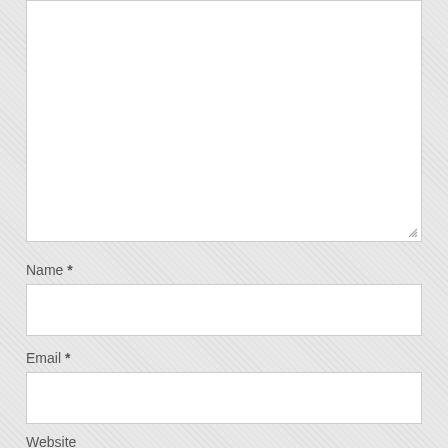[Figure (screenshot): Large empty textarea input box with resize handle at bottom right corner]
Name *
[Figure (screenshot): Text input field for Name]
Email *
[Figure (screenshot): Text input field for Email]
Website
[Figure (screenshot): Text input field for Website (partially visible)]